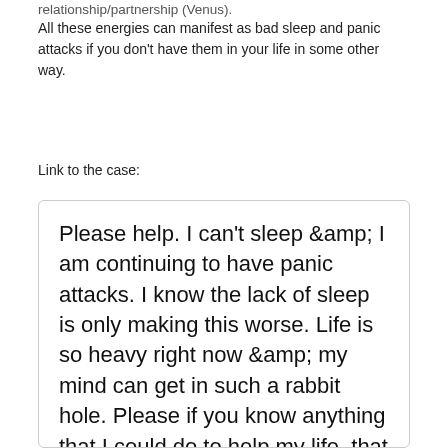relationship/partnership (Venus).
All these energies can manifest as bad sleep and panic attacks if you don't have them in your life in some other way.
Link to the case:
Please help. I can't sleep &amp; I am continuing to have panic attacks. I know the lack of sleep is only making this worse. Life is so heavy right now &amp; my mind can get in such a rabbit hole. Please if you know anything that I could do to help my life, that would mean a lot. Pls any advice would help